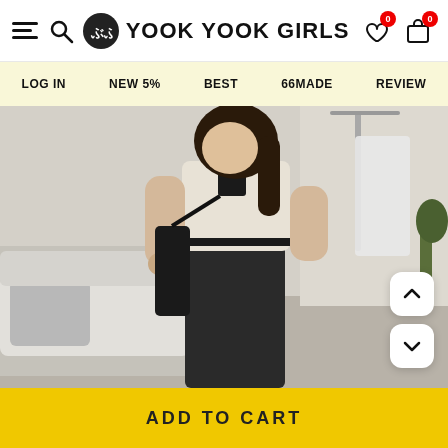YOOK YOOK GIRLS
LOG IN | NEW 5% | BEST | 66MADE | REVIEW
[Figure (photo): A woman wearing a cream/off-white short-sleeve top with black trim and a black midi skirt, holding a black shoulder bag, standing in a minimalist room with a grey sofa and clothing rack in the background.]
ADD TO CART